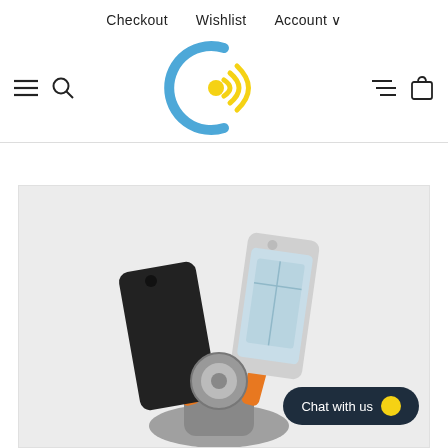Checkout   Wishlist   Account
[Figure (logo): Circular logo with blue C-shape and yellow wifi signal waves emanating from center dot]
[Figure (photo): Product photo of a car phone mount/holder showing a black device and a silver smartphone being inserted, with orange accent arm visible]
Chat with us